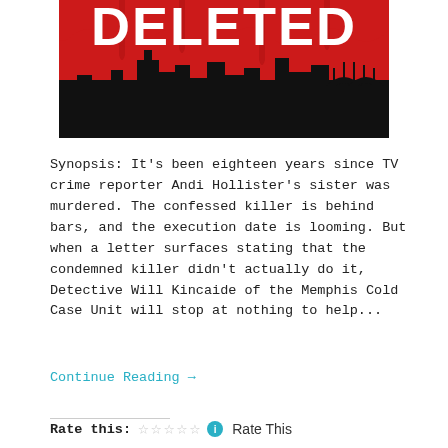[Figure (illustration): Book cover showing the word 'DELETED' in large white letters on a red background with a black city skyline silhouette below]
Synopsis: It's been eighteen years since TV crime reporter Andi Hollister's sister was murdered. The confessed killer is behind bars, and the execution date is looming. But when a letter surfaces stating that the condemned killer didn't actually do it, Detective Will Kincaide of the Memphis Cold Case Unit will stop at nothing to help...
Continue Reading →
Rate this: ☆☆☆☆☆ ⓘ Rate This